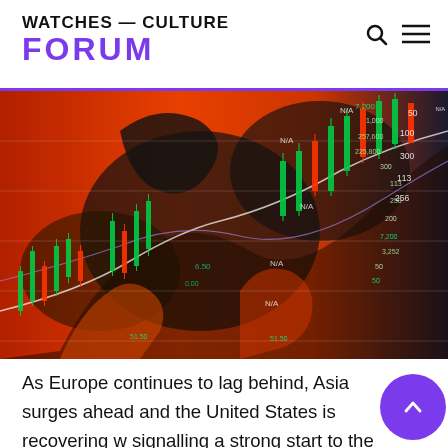WATCHES — CULTURE FORUM
[Figure (photo): Stock market chart with candlestick data overlaid on a colorful illustration of a Chinese dragon on a red and orange background, with financial data including values like N/A, 7,200, 3,252, 225,800, 257,600, 1,000, and other numbers visible in the background.]
As Europe continues to lag behind, Asia surges ahead and the United States is recovering w signalling a strong start to the year for th